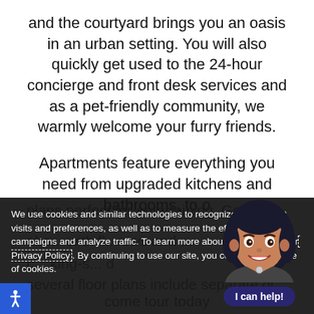and the courtyard brings you an oasis in an urban setting. You will also quickly get used to the 24-hour concierge and front desk services and as a pet-friendly community, we warmly welcome your furry friends.
Apartments feature everything you need from upgraded kitchens and bathrooms, to o... r plans perfect for entertaining. Gorgeo... abo... with fl... ... ows and ... c... king-s... d several floor plans include separate di... come tour today
We use cookies and similar technologies to recognize your repeat visits and preferences, as well as to measure the effectiveness of campaigns and analyze traffic. To learn more about cookies view our Privacy Policy. By continuing to use our site, you consent to the use of cookies.
We continue to focus on the well-being of our residents by maintaining robust cleaning protocols and adding enhanced building systems a...
CLOSE
[Figure (illustration): Animated female virtual assistant avatar with dark hair, smiling, wearing a dark jacket. Below her is a button labeled 'I can help!' in white text on a dark purple/navy background.]